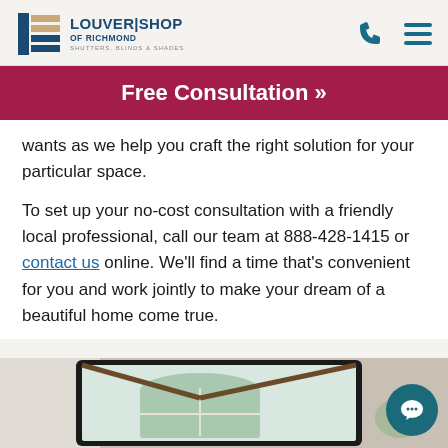Louver Shop of Richmond — Shutters, Blinds & Shades
Free Consultation »
wants as we help you craft the right solution for your particular space.
To set up your no-cost consultation with a friendly local professional, call our team at 888-428-1415 or contact us online. We'll find a time that's convenient for you and work jointly to make your dream of a beautiful home come true.
[Figure (photo): Interior room photo showing arched windows with wooden ceiling beams, displayed inside a tablet device frame.]